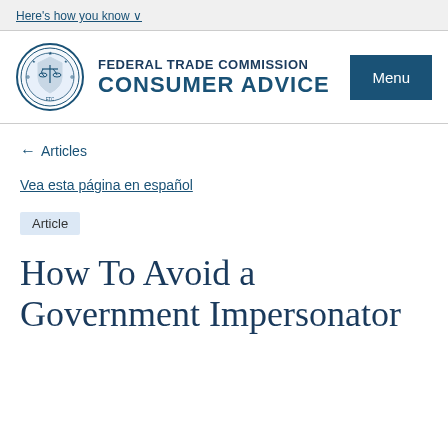Here's how you know
[Figure (logo): Federal Trade Commission seal/logo circle]
FEDERAL TRADE COMMISSION CONSUMER ADVICE
Menu
← Articles
Vea esta página en español
Article
How To Avoid a Government Impersonator